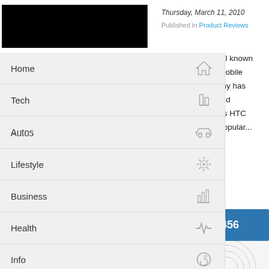[Figure (screenshot): Black redacted logo/image in top left header area]
Thursday, March 11, 2010
Published in Product Reviews
Home
Tech
Autos
Lifestyle
Business
Health
Info
Business Directory
HTC is well known …id series mobile …he company has …new android …e known as HTC …n is very popular...
f 456